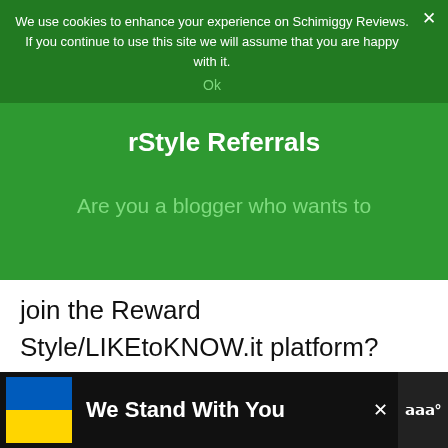We use cookies to enhance your experience on Schimiggy Reviews. If you continue to use this site we will assume that you are happy with it.
Ok
rStyle Referrals
Are you a blogger who wants to join the Reward Style/LIKEtoKNOW.it platform? Follow us on IG then send me a DM with the link to your blog and email address. I will refer you to the network!
Read our How to Use rStyle Guide to learn more.
WHAT'S NEXT → Brevite Jumper...
We Stand With You